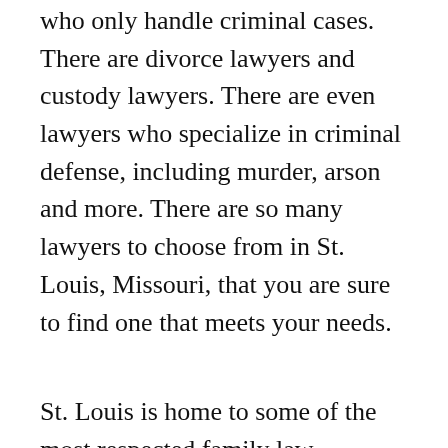who only handle criminal cases. There are divorce lawyers and custody lawyers. There are even lawyers who specialize in criminal defense, including murder, arson and more. There are so many lawyers to choose from in St. Louis, Missouri, that you are sure to find one that meets your needs.
St. Louis is home to some of the most respected family law attorneys in the country. Some of the most noteworthy family lawyers in Missouri are Paul V. Nabors, III, and John L. Johnson III. Paul V. Nabors III is ranked as the number one family law attorney in the state of Missouri by Sporting News. He is also listed on